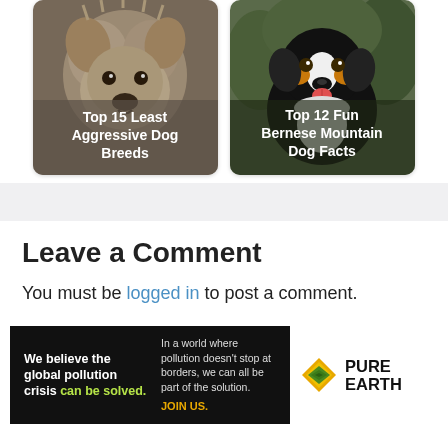[Figure (photo): Fluffy small dog photo with overlay text 'Top 15 Least Aggressive Dog Breeds']
[Figure (photo): Bernese Mountain Dog photo with overlay text 'Top 12 Fun Bernese Mountain Dog Facts']
Leave a Comment
You must be logged in to post a comment.
[Figure (infographic): Pure Earth ad banner: 'We believe the global pollution crisis can be solved. In a world where pollution doesn't stop at borders, we can all be part of the solution. JOIN US.' with Pure Earth logo.]